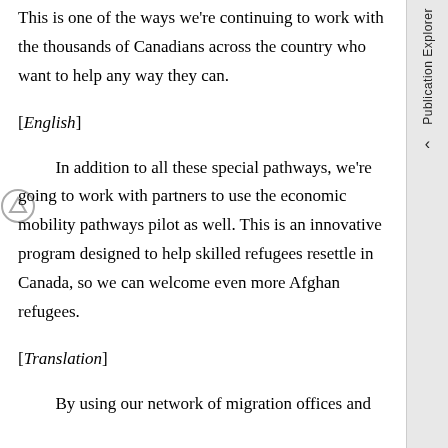This is one of the ways we're continuing to work with the thousands of Canadians across the country who want to help any way they can.
[English]
In addition to all these special pathways, we're going to work with partners to use the economic mobility pathways pilot as well. This is an innovative program designed to help skilled refugees resettle in Canada, so we can welcome even more Afghan refugees.
[Translation]
By using our network of migration offices and